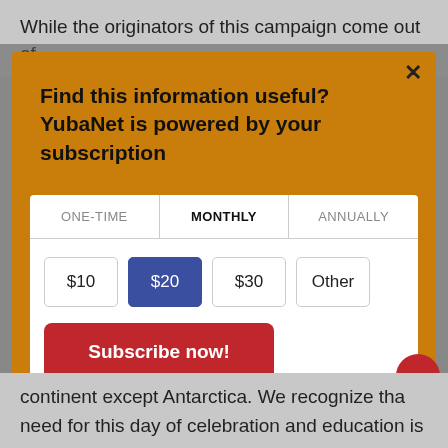While the originators of this campaign come out of
[Figure (screenshot): A modal popup on a news website (YubaNet) prompting the user to subscribe. Orange background with bold title 'Find this information useful? YubaNet is powered by your subscription'. Contains a white subscription box with tabs ONE-TIME, MONTHLY (active/bold), ANNUALLY, amount buttons $10, $20 (selected/blue), $30, Other, and a red 'Subscribe now!' button. A close X button is in the top-right corner.]
continent except Antarctica. We recognize that need for this day of celebration and education is